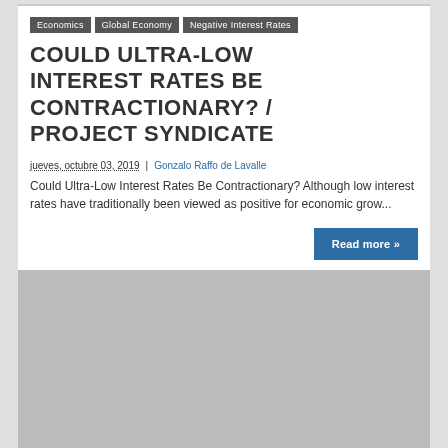Economics
Global Economy
Negative Interest Rates
COULD ULTRA-LOW INTEREST RATES BE CONTRACTIONARY? / PROJECT SYNDICATE
jueves, octubre 03, 2019 | Gonzalo Raffo de Lavalle
Could Ultra-Low Interest Rates Be Contractionary? Although low interest rates have traditionally been viewed as positive for economic grow...
[Figure (photo): Gray placeholder image for a linked article thumbnail]